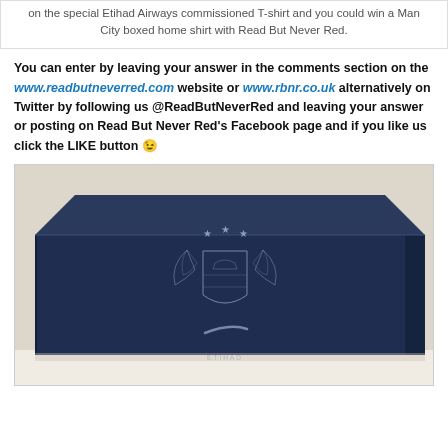on the special Etihad Airways commissioned T-shirt and you could win a Man City boxed home shirt with Read But Never Red.
You can enter by leaving your answer in the comments section on the www.readbutneverred.com website or www.rbnr.co.uk alternatively on Twitter by following us @ReadButNeverRed and leaving your answer or posting on Read But Never Red's Facebook page and if you like us click the LIKE button 😉
[Figure (photo): A dark navy blue Man City boxed home shirt packaging box. The box displays the Manchester City eagle crest/badge with three stars above it, a Nike swoosh logo below, and the word ETIHAD at the bottom of the box. The box is sitting on a white surface.]